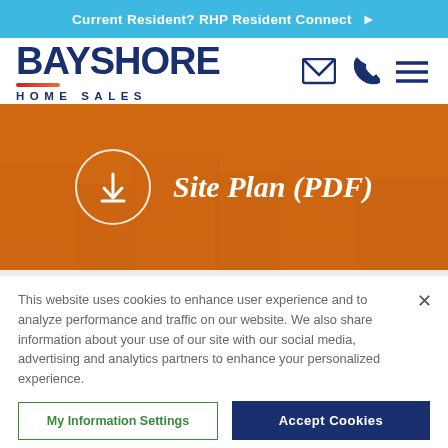Current Resident? RHP Resident Connect ▶
[Figure (logo): Bayshore Home Sales logo with envelope, phone, and hamburger menu icons]
[Figure (infographic): Orange hero banner with download icon circle and 'Site Plan (PDF)' text in italic white font over building aerial background]
This website uses cookies to enhance user experience and to analyze performance and traffic on our website. We also share information about your use of our site with our social media, advertising and analytics partners to enhance your personalized experience.
My Information Settings
Accept Cookies